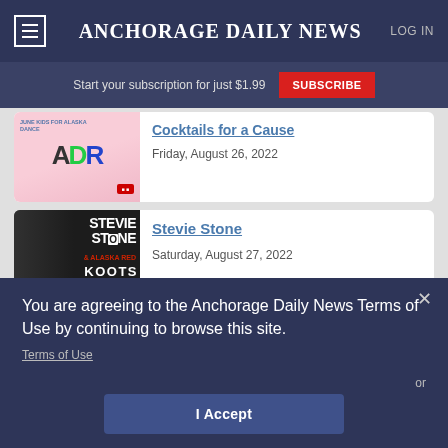Anchorage Daily News — LOG IN
Start your subscription for just $1.99 SUBSCRIBE
Cocktails for a Cause
Friday, August 26, 2022
Stevie Stone
Saturday, August 27, 2022
You are agreeing to the Anchorage Daily News Terms of Use by continuing to browse this site.
Terms of Use
or
I Accept